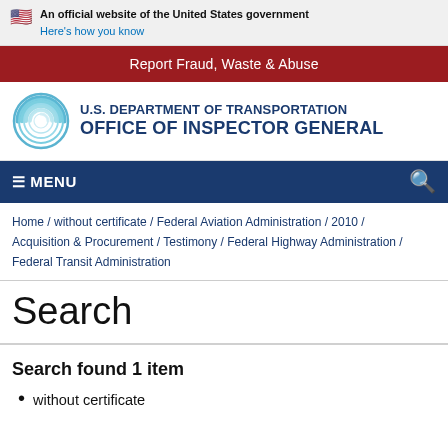An official website of the United States government Here's how you know
Report Fraud, Waste & Abuse
[Figure (logo): U.S. Department of Transportation Office of Inspector General logo with circular swirl emblem]
≡ MENU
Home / without certificate / Federal Aviation Administration / 2010 / Acquisition & Procurement / Testimony / Federal Highway Administration / Federal Transit Administration
Search
Search found 1 item
without certificate